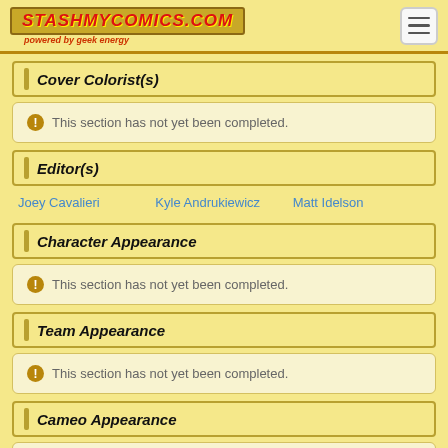StashMyComics.com - powered by geek energy
Cover Colorist(s)
This section has not yet been completed.
Editor(s)
Joey Cavalieri  Kyle Andrukiewicz  Matt Idelson
Character Appearance
This section has not yet been completed.
Team Appearance
This section has not yet been completed.
Cameo Appearance
This section has not yet been completed.